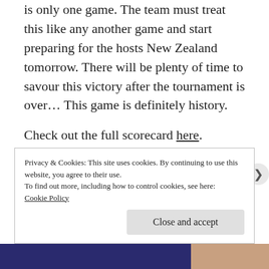is only one game. The team must treat this like any another game and start preparing for the hosts New Zealand tomorrow. There will be plenty of time to savour this victory after the tournament is over... This game is definitely history.
Check out the full scorecard here.
For more coverage head to the home of Cricket Canada. Become a Fan on Facebook or follow
Privacy & Cookies: This site uses cookies. By continuing to use this website, you agree to their use.
To find out more, including how to control cookies, see here:
Cookie Policy
Close and accept